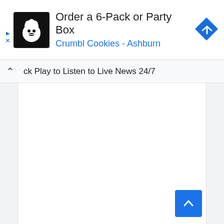[Figure (screenshot): Advertisement banner for Crumbl Cookies - Ashburn showing logo, title 'Order a 6-Pack or Party Box', subtitle 'Crumbl Cookies - Ashburn', and a blue navigation/directions diamond icon]
ck Play to Listen to Live News 24/7
[Figure (screenshot): Mostly blank white content area with a blue scroll-to-top button in the bottom right corner]